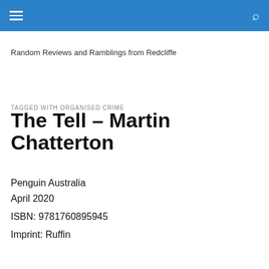Random Reviews and Ramblings from Redcliffe
TAGGED WITH ORGANISED CRIME
The Tell – Martin Chatterton
Penguin Australia
April 2020
ISBN: 9781760895945
Imprint: Ruffin